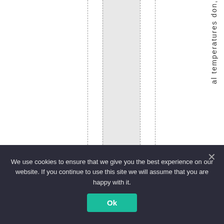[Figure (other): Partial document page showing vertical dashed column guide lines, a light gray vertical band, and vertical rotated text reading 'al temperatures don,' cut off at the top and bottom. Background is white.]
We use cookies to ensure that we give you the best experience on our website. If you continue to use this site we will assume that you are happy with it.